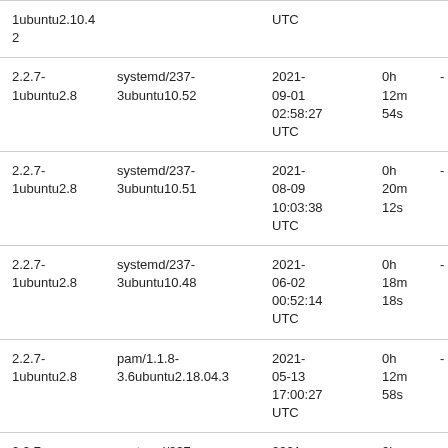| 2.2.7-1ubuntu2.8 | systemd/237-3ubuntu10.52 | 2021-09-01 02:58:27 UTC | 0h 12m 54s | - |
| 2.2.7-1ubuntu2.8 | systemd/237-3ubuntu10.51 | 2021-08-09 10:03:38 UTC | 0h 20m 12s | - |
| 2.2.7-1ubuntu2.8 | systemd/237-3ubuntu10.48 | 2021-06-02 00:52:14 UTC | 0h 18m 18s | - |
| 2.2.7-1ubuntu2.8 | pam/1.1.8-3.6ubuntu2.18.04.3 | 2021-05-13 17:00:27 UTC | 0h 12m 58s | - |
| 2.2.7-1ubuntu2.8 | systemd/237-3ubuntu10.47 | 2021-04-16 | 0h 11m 03s | - |